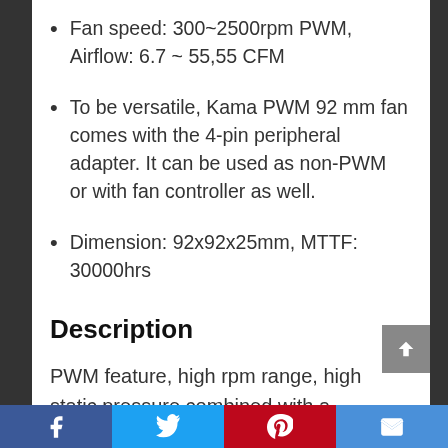Fan speed: 300~2500rpm PWM, Airflow: 6.7 ~ 55,55 CFM
To be versatile, Kama PWM 92 mm fan comes with the 4-pin peripheral adapter. It can be used as non-PWM or with fan controller as well.
Dimension: 92x92x25mm, MTTF: 30000hrs
Description
PWM feature, high rpm range, high static pressure combined with a moderate noise
Facebook | Twitter | Pinterest | Email